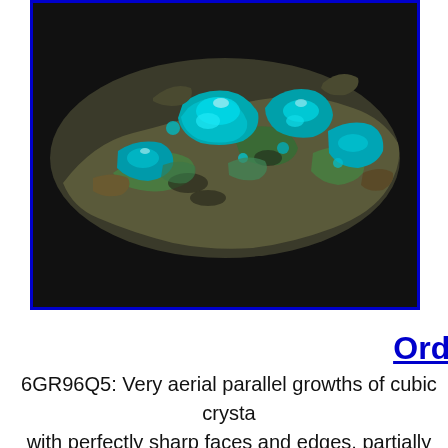[Figure (photo): A mineral specimen (Acanthite/Chrysocolla) showing vivid teal and blue-green cubic crystal growths on a dark rocky matrix, photographed against a black background, framed with a blue border.]
Orde
6GR96Q5: Very aerial parallel growths of cubic crysta with perfectly sharp faces and edges, partially skeleta This Acanthite has retained an excellent luster and colo characteristic of specimens from this mine, the Bay...